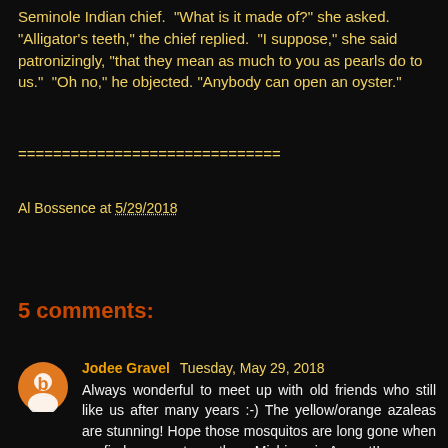Seminole Indian chief.  "What is it made of?" she asked.  "Alligator's teeth," the chief replied.  "I suppose," she said patronizingly, "that they mean as much to you as pearls do to us."  "Oh no," he objected. "Anybody can open an oyster."
==============================
Al Bossence at 5/29/2018
Share
5 comments:
Jodee Gravel  Tuesday, May 29, 2018
Always wonderful to meet up with old friends who still like us after many years :-) The yellow/orange azaleas are stunning! Hope those mosquitos are long gone when we find our way to northern Michigan in August!!
Reply